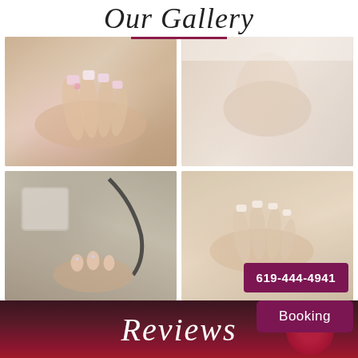Our Gallery
[Figure (photo): Close-up photo of hands with long acrylic nails decorated with pink and white nail art including floral designs]
[Figure (photo): Close-up photo of a person's arm and hand resting on a white surface, skin tone visible]
[Figure (photo): Photo of nail technician working on a client's nails with nail lamp equipment visible]
[Figure (photo): Close-up of hands with natural-length nails with phone number overlay badge reading 619-444-4941]
619-444-4941
Booking
Reviews